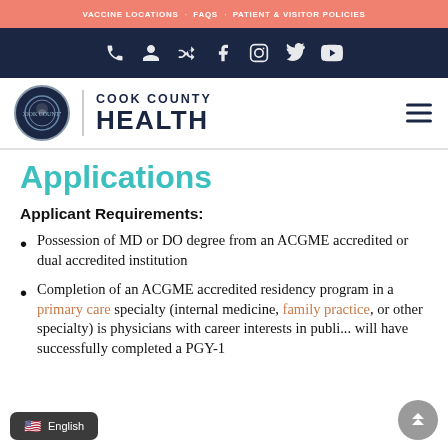VACCINE LOCATIONS · FAQS · PATIENT & VISITOR POLICIES
[Figure (logo): Cook County Health logo with seal and social/contact icons]
Applications
Applicant Requirements:
Possession of MD or DO degree from an ACGME accredited or dual accredited institution
Completion of an ACGME accredited residency program in a primary care specialty (internal medicine, family practice, or other specialty) is physicians with career interests in publi... will have successfully completed a PGY-1